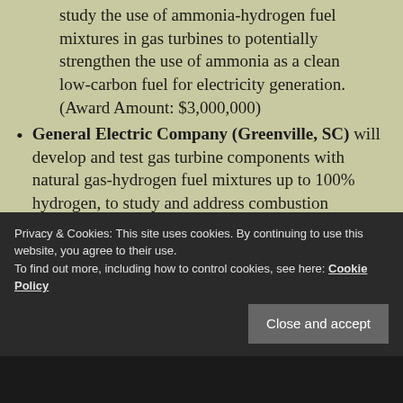study the use of ammonia-hydrogen fuel mixtures in gas turbines to potentially strengthen the use of ammonia as a clean low-carbon fuel for electricity generation. (Award Amount: $3,000,000)
General Electric Company (Greenville, SC) will develop and test gas turbine components with natural gas-hydrogen fuel mixtures up to 100% hydrogen, to study and address combustion challenges associated with burning highly reactive hydrogen fuels. (Award Amount: $5,986,440)
General Electric, GE Research (Niskayuna, NY) will study the operation of hydrogen-fueled turbine components, which could substantially
Privacy & Cookies: This site uses cookies. By continuing to use this website, you agree to their use. To find out more, including how to control cookies, see here: Cookie Policy